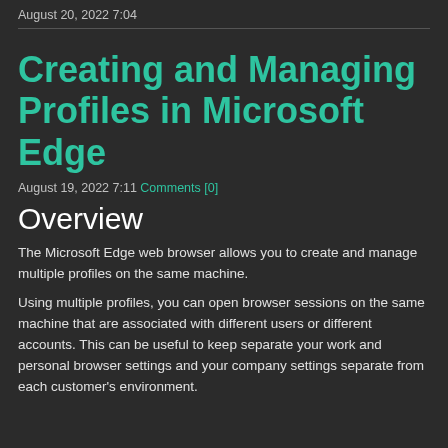August 20, 2022 7:04
Creating and Managing Profiles in Microsoft Edge
August 19, 2022 7:11 Comments [0]
Overview
The Microsoft Edge web browser allows you to create and manage multiple profiles on the same machine.
Using multiple profiles, you can open browser sessions on the same machine that are associated with different users or different accounts. This can be useful to keep separate your work and personal browser settings and your company settings separate from each customer's environment.